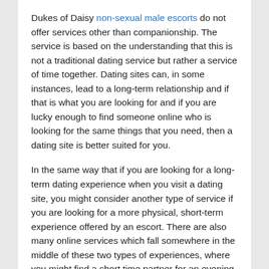Dukes of Daisy non-sexual male escorts do not offer services other than companionship. The service is based on the understanding that this is not a traditional dating service but rather a service of time together. Dating sites can, in some instances, lead to a long-term relationship and if that is what you are looking for and if you are lucky enough to find someone online who is looking for the same things that you need, then a dating site is better suited for you.
In the same way that if you are looking for a long-term dating experience when you visit a dating site, you might consider another type of service if you are looking for a more physical, short-term experience offered by an escort. There are also many online services which fall somewhere in the middle of these two types of experiences, where you might find a short time partner for an evening or where, if you strike it lucky, you might find someone that you bond with at a deeper level. With a simple swipe to the left or the right, you can have access to many options that suit your desires. The difference here